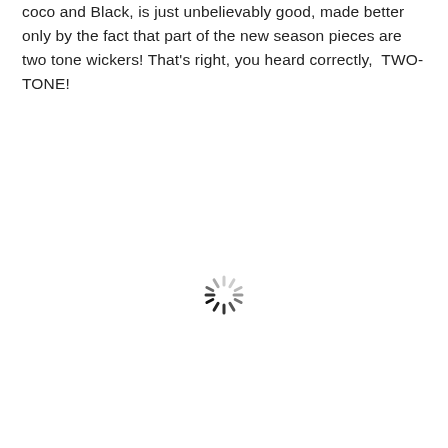coco and Black, is just unbelievably good, made better only by the fact that part of the new season pieces are two tone wickers! That's right, you heard correctly,  TWO-TONE!
[Figure (other): A loading spinner icon (circular dashed lines radiating from center, partially dark/partially light segments), indicating an image or content is loading.]